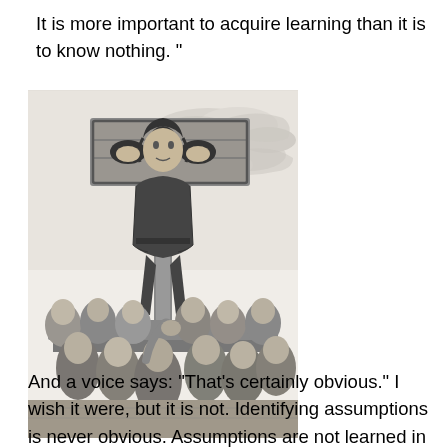It is more important to acquire learning than it is to know nothing. ”
[Figure (illustration): Historical engraving of a person locked in a pillory (stocks) on a post, surrounded by a crowd of onlookers.]
And a voice says: “That’s certainly obvious.” I wish it were, but it is not. Identifying assumptions is never obvious. Assumptions are not learned in school and then promptly forgotten — like the